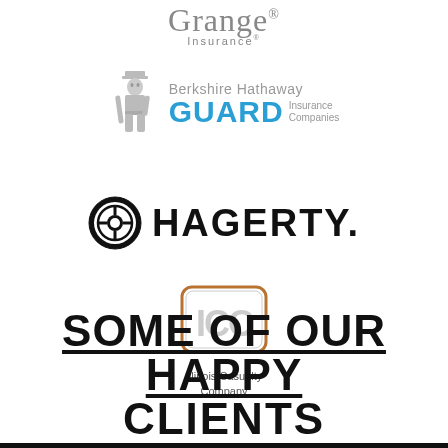[Figure (logo): Grange Insurance logo with trademark symbol]
[Figure (logo): Berkshire Hathaway GUARD Insurance Companies logo with soldier figure]
[Figure (logo): Hagerty insurance/automotive logo with circular wheel icon]
[Figure (logo): Illinois Casualty Company logo with ICC monogram in rounded square border]
SOME OF OUR HAPPY CLIENTS